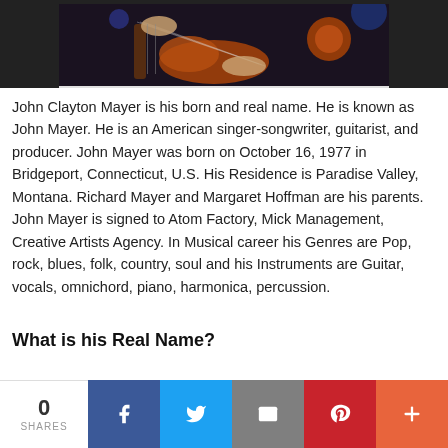[Figure (photo): Guitarist performing on stage, closeup of hands on guitar with colorful stage lighting]
John Clayton Mayer is his born and real name. He is known as John Mayer. He is an American singer-songwriter, guitarist, and producer. John Mayer was born on October 16, 1977 in Bridgeport, Connecticut, U.S. His Residence is Paradise Valley, Montana. Richard Mayer and Margaret Hoffman are his parents. John Mayer is signed to Atom Factory, Mick Management, Creative Artists Agency. In Musical career his Genres are Pop, rock, blues, folk, country, soul and his Instruments are Guitar, vocals, omnichord, piano, harmonica, percussion.
What is his Real Name?
His real name is John Clayton Mayer